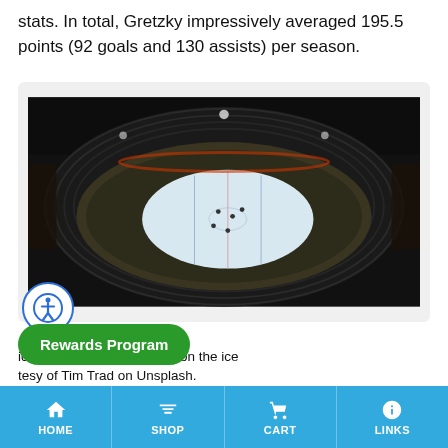stats. In total, Gretzky impressively averaged 195.5 points (92 goals and 130 assists) per season.
[Figure (photo): Aerial overhead view of an empty ice hockey arena with players on the ice, dark stadium with seating visible around the oval rink.]
hockey players in the middle on the ice courtesy of Tim Trad on Unsplash.
HOME  SHOP  CART  LINKS